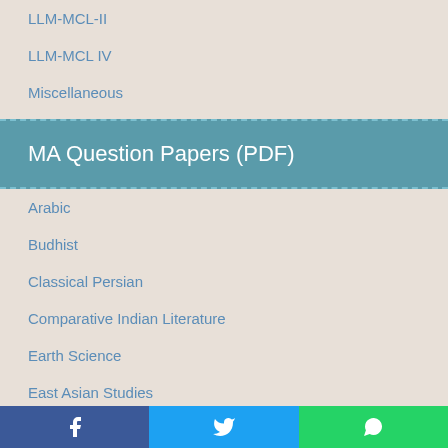LLM-MCL-II
LLM-MCL IV
Miscellaneous
MA Question Papers (PDF)
Arabic
Budhist
Classical Persian
Comparative Indian Literature
Earth Science
East Asian Studies
Economics
English
Facebook | Twitter | WhatsApp